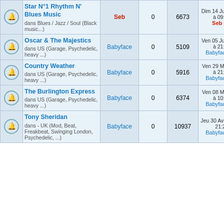|  | Topic | Author | Replies | Views | Last Post |
| --- | --- | --- | --- | --- | --- |
| [bell] | Star N°1 Rhythm N' Blues Music
dans Blues / Jazz / Soul (Black music...) | Seb | 0 | 6673 | Dim 14 Juin 2020 à 09:00
Seb →□ |
| [bell] | Oscar & The Majestics
dans US (Garage, Psychedelic, heavy ...) | Babyface | 0 | 5109 | Ven 05 Juin 2020 à 21:39
Babyface →□ |
| [bell] | Country Weather
dans US (Garage, Psychedelic, heavy ...) | Babyface | 0 | 5916 | Ven 29 Mai 2020 à 21:19
Babyface →□ |
| [bell] | The Burlington Express
dans US (Garage, Psychedelic, heavy ...) | Babyface | 0 | 6374 | Ven 08 Mai 2020 à 10:49
Babyface →□ |
| [bell] | Tony Sheridan
dans - UK (Mod, Beat, Freakbeat, Swinging London, Psychedelic, ...) | Babyface | 0 | 10937 | Jeu 30 Avr 2020 à 21:20
Babyface →□ |